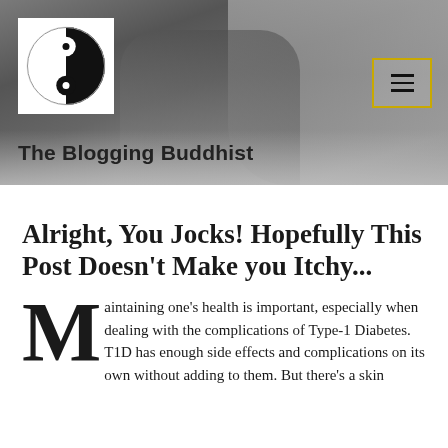[Figure (photo): Black and white hero image of a person in a gym or martial arts setting, with a yin-yang logo box in the top left, site title 'The Blogging Buddhist' overlaid at the bottom left, and a yellow-bordered hamburger menu icon at the top right.]
Alright, You Jocks! Hopefully This Post Doesn't Make you Itchy...
Maintaining one's health is important, especially when dealing with the complications of Type-1 Diabetes. T1D has enough side effects and complications on its own without adding to them. But there's a skin